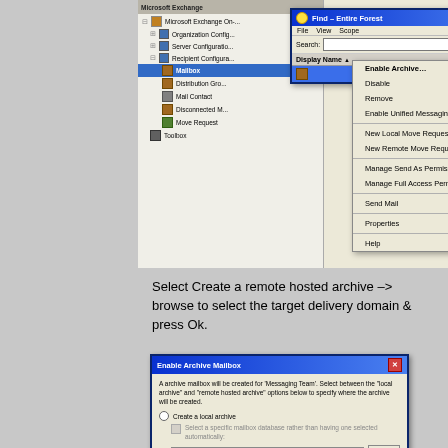[Figure (screenshot): Microsoft Exchange Management Console screenshot showing 'Find - Entire Forest' window with a context menu open displaying options: Enable Archive..., Disable, Remove, Enable Unified Messaging..., New Local Move Request..., New Remote Move Request..., Manage Send As Permission..., Manage Full Access Permission..., Send Mail, Properties, Help]
Select Create a remote hosted archive –> browse to select the target delivery domain & press Ok.
[Figure (screenshot): Enable Archive Mailbox dialog box showing options to create a local archive or remote hosted archive, with a Browse button and text about archive mailbox being created for 'Messaging Team']